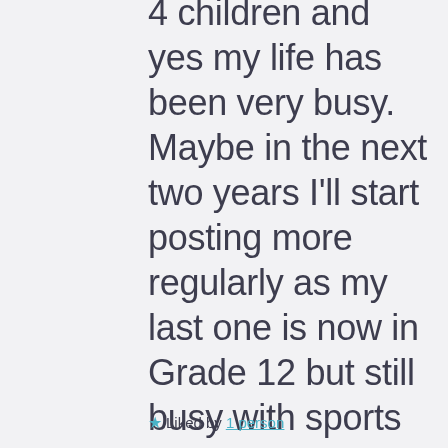4 children and yes my life has been very busy. Maybe in the next two years I'll start posting more regularly as my last one is now in Grade 12 but still busy with sports so we drive around the country for games, almost every weekend It's very exhausting!
★ Liked by 1 person